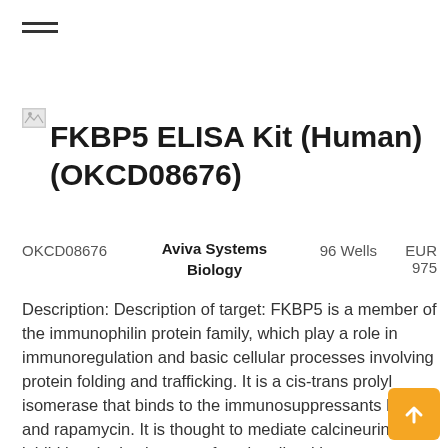☰ (hamburger menu icon)
[Figure (logo): Small placeholder/broken image icon for product logo]
FKBP5 ELISA Kit (Human) (OKCD08676)
OKCD08676   Aviva Systems Biology   96 Wells   EUR 975
Description: Description of target: FKBP5 is a member of the immunophilin protein family, which play a role in immunoregulation and basic cellular processes involving protein folding and trafficking. It is a cis-trans prolyl isomerase that binds to the immunosuppressants FK506 and rapamycin. It is thought to mediate calcineurin inhibition. It also interacts functionally with mature hetero-oligomeric progesterone receptor complexes and with the 90 kDa heat shock protein and P23 protein.